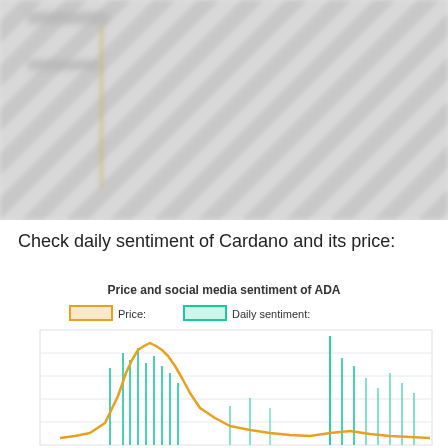[Figure (screenshot): Blurred/redacted chart or table at top of page, content obscured]
Check daily sentiment of Cardano and its price:
[Figure (line-chart): Line chart showing price (orange) and daily sentiment (teal) of ADA cryptocurrency over time. Price and sentiment show a large peak in the left-center area, with sentiment showing additional spikes on the right side.]